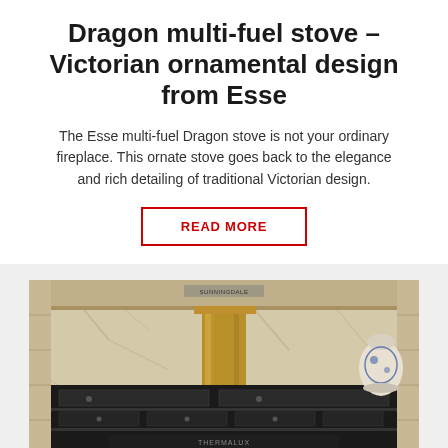Dragon multi-fuel stove – Victorian ornamental design from Esse
The Esse multi-fuel Dragon stove is not your ordinary fireplace. This ornate stove goes back to the elegance and rich detailing of traditional Victorian design.
READ MORE
[Figure (photo): Photo of a dark-coloured Esse Dragon multi-fuel stove installed in a marble-tiled fireplace surround, with a brass/copper flue pipe rising centrally. A decorative blue and white ceramic pot is visible at the right. The stove has multiple compartments and a decorative front grille.]